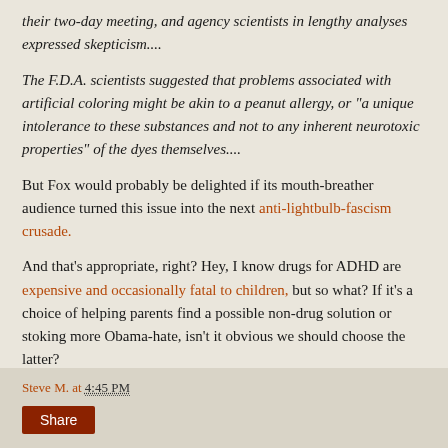their two-day meeting, and agency scientists in lengthy analyses expressed skepticism....
The F.D.A. scientists suggested that problems associated with artificial coloring might be akin to a peanut allergy, or "a unique intolerance to these substances and not to any inherent neurotoxic properties" of the dyes themselves....
But Fox would probably be delighted if its mouth-breather audience turned this issue into the next anti-lightbulb-fascism crusade.
And that's appropriate, right? Hey, I know drugs for ADHD are expensive and occasionally fatal to children, but so what? If it's a choice of helping parents find a possible non-drug solution or stoking more Obama-hate, isn't it obvious we should choose the latter?
Steve M. at 4:45 PM  Share